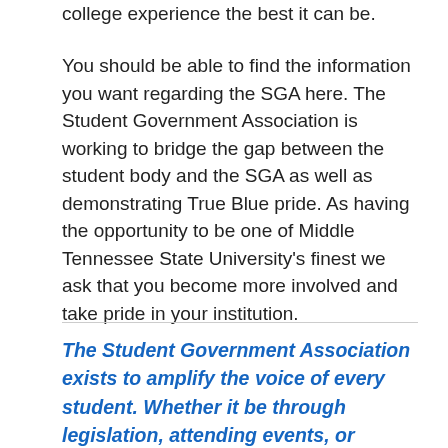college experience the best it can be.
You should be able to find the information you want regarding the SGA here. The Student Government Association is working to bridge the gap between the student body and the SGA as well as demonstrating True Blue pride. As having the opportunity to be one of Middle Tennessee State University's finest we ask that you become more involved and take pride in your institution.
The Student Government Association exists to amplify the voice of every student. Whether it be through legislation, attending events, or joining a committee, SGA enables students to get involved in university-wide leadership. We believe that through advocacy, you can make an impact on